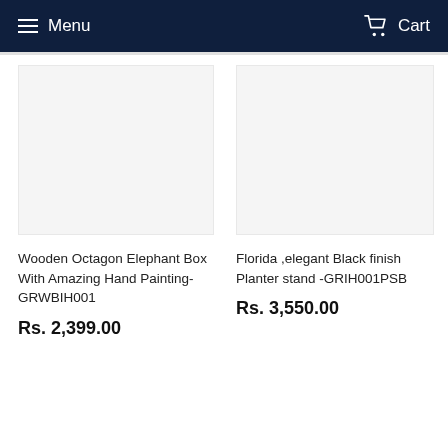Menu   Cart
Wooden Octagon Elephant Box With Amazing Hand Painting-GRWBIH001
Rs. 2,399.00
Florida ,elegant Black finish Planter stand -GRIH001PSB
Rs. 3,550.00